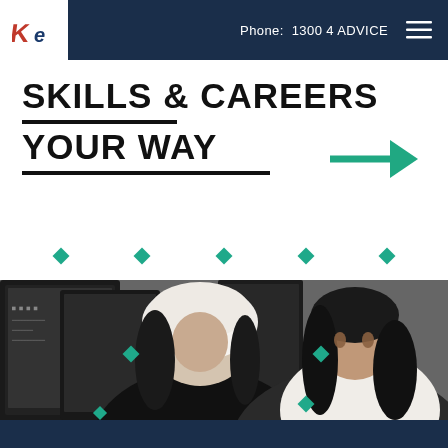Phone: 1300 4 ADVICE
SKILLS & CAREERS YOUR WAY
[Figure (photo): Two women working together at computer monitors in an office or classroom setting. One woman wears a white headscarf.]
[Figure (logo): KE logo in red and blue on white background]